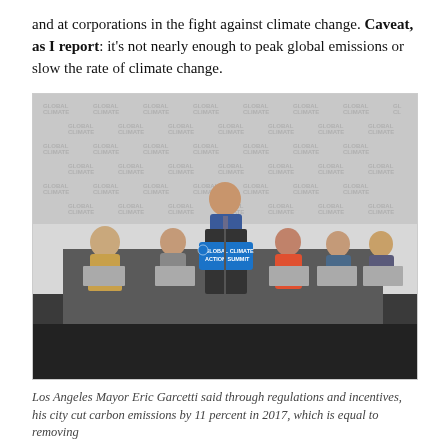and at corporations in the fight against climate change. Caveat, as I report: it's not nearly enough to peak global emissions or slow the rate of climate change.
[Figure (photo): A man in a blue suit stands at a podium labeled 'Global Climate Action Summit'. Several people are seated in chairs on a stage behind him. The backdrop is a repeating 'Global Climate' logo. An audience member is partially visible in the foreground.]
Los Angeles Mayor Eric Garcetti said through regulations and incentives, his city cut carbon emissions by 11 percent in 2017, which is equal to removing